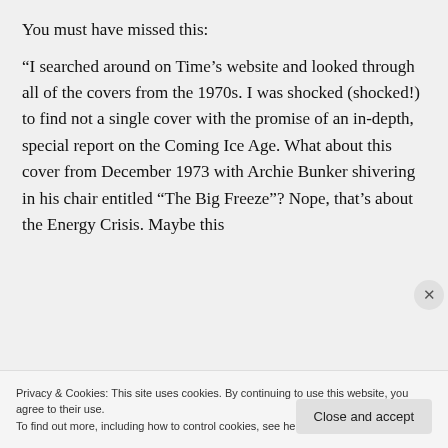You must have missed this:
“I searched around on Time’s website and looked through all of the covers from the 1970s. I was shocked (shocked!) to find not a single cover with the promise of an in-depth, special report on the Coming Ice Age. What about this cover from December 1973 with Archie Bunker shivering in his chair entitled “The Big Freeze”? Nope, that’s about the Energy Crisis. Maybe this
Privacy & Cookies: This site uses cookies. By continuing to use this website, you agree to their use.
To find out more, including how to control cookies, see here: Cookie Policy
Close and accept